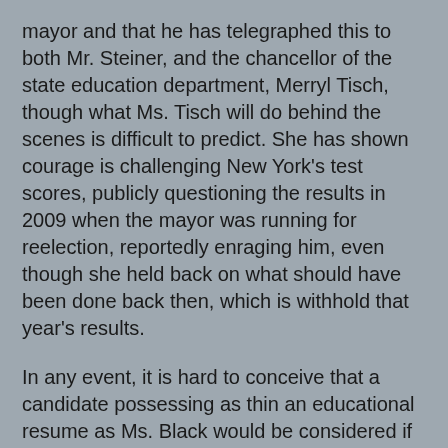mayor and that he has telegraphed this to both Mr. Steiner, and the chancellor of the state education department, Merryl Tisch, though what Ms. Tisch will do behind the scenes is difficult to predict. She has shown courage is challenging New York's test scores, publicly questioning the results in 2009 when the mayor was running for reelection, reportedly enraging him, even though she held back on what should have been done back then, which is withhold that year's results.
In any event, it is hard to conceive that a candidate possessing as thin an educational resume as Ms. Black would be considered if nominated by another mayor.
The saddest part of this story is that the meetings of the advisory committee to decide whether Ms. Black deserves a waiver from the statutory requirements will apparently by done in secret.
Under New York State's Open Meetings Law, the deliberations of this panel should be open. Personnel matters can be held in executive session, but this is not a